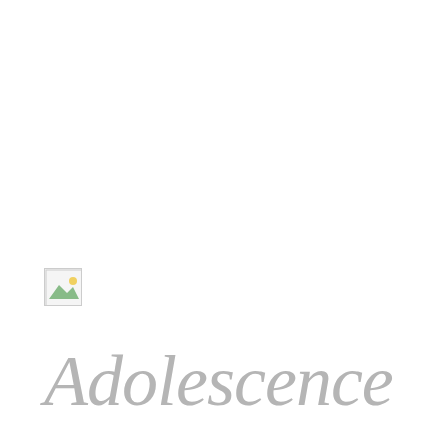[Figure (illustration): Broken/placeholder image icon — small square with a landscape image icon showing a green hill]
Adolescence
Privacy & Cookies: This site uses cookies. By continuing to use this website, you agree to their use.
To find out more, including how to control cookies, see here: Cookie Policy
Close and accept